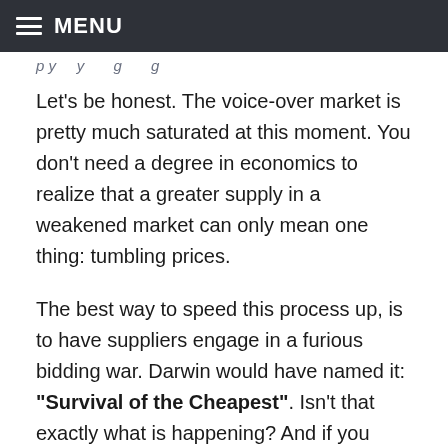MENU
p y … y … g … g
Let's be honest. The voice-over market is pretty much saturated at this moment. You don't need a degree in economics to realize that a greater supply in a weakened market can only mean one thing: tumbling prices.
The best way to speed this process up, is to have suppliers engage in a furious bidding war. Darwin would have named it: "Survival of the Cheapest". Isn't that exactly what is happening? And if you don't believe me, why is it so hard to